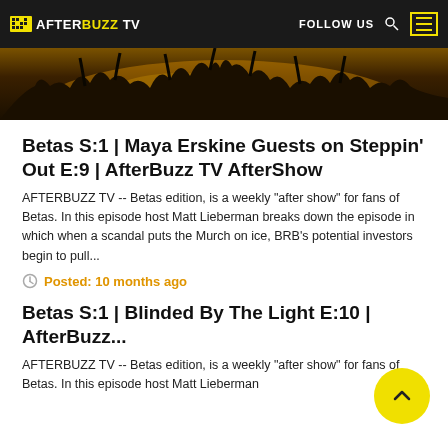AFTERBUZZ TV | FOLLOW US
[Figure (photo): Concert crowd with raised hands silhouetted against a warm amber/orange stage light background]
Betas S:1 | Maya Erskine Guests on Steppin' Out E:9 | AfterBuzz TV AfterShow
AFTERBUZZ TV -- Betas edition, is a weekly "after show" for fans of Betas. In this episode host Matt Lieberman breaks down the episode in which when a scandal puts the Murch on ice, BRB's potential investors begin to pull...
Posted: 10 months ago
Betas S:1 | Blinded By The Light E:10 | AfterBuzz...
AFTERBUZZ TV -- Betas edition, is a weekly "after show" for fans of Betas. In this episode host Matt Lieberman